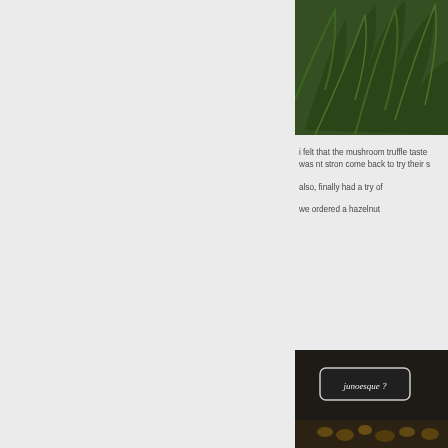[Figure (photo): Close-up photo of green leafy herbs or plants, possibly rucola or similar greens, with dark background]
i felt that the mushroom truffle taste was nt stron come back to try their s
also, finally had a try of
we ordered a hazelnut
[Figure (photo): Photo showing a label reading 'junoesque ?' on a dark background with what appears to be nuts or food items]